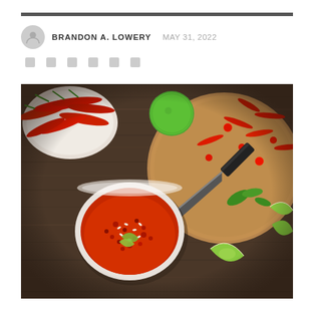BRANDON A. LOWERY  MAY 31, 2022
[Figure (photo): Overhead flat-lay photo of chili peppers, lime wedges, a knife, and a bowl of spicy chili sauce on a dark wooden surface]
Social sharing icons row